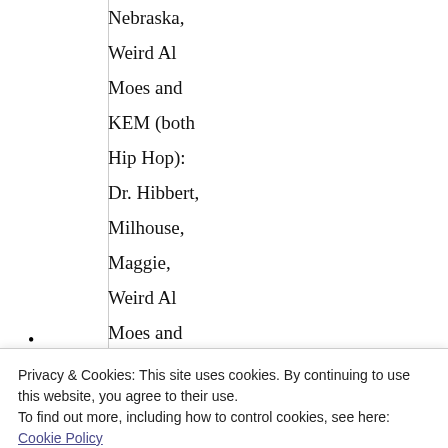Nebraska,
Weird Al
Moes and
KEM (both
Hip Hop):
Dr. Hibbert,
Milhouse,
Maggie,
Weird Al
Moes and
KEM
(Rock and
Pop): Nick
Privacy & Cookies: This site uses cookies. By continuing to use this website, you agree to their use.
To find out more, including how to control cookies, see here: Cookie Policy
Moes and